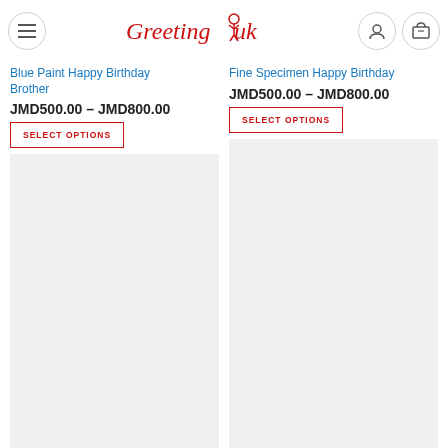GreetingYuh
Blue Paint Happy Birthday Brother
JMD500.00 – JMD800.00
SELECT OPTIONS
Fine Specimen Happy Birthday
JMD500.00 – JMD800.00
SELECT OPTIONS
[Figure (photo): Product image placeholder left]
[Figure (photo): Product image placeholder right]